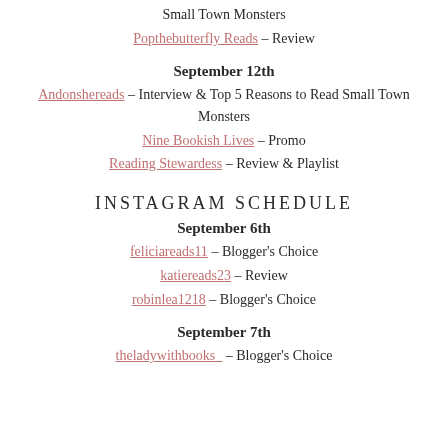Small Town Monsters
Popthebutterfly Reads – Review
September 12th
Andonshereads – Interview & Top 5 Reasons to Read Small Town Monsters
Nine Bookish Lives – Promo
Reading Stewardess – Review & Playlist
INSTAGRAM SCHEDULE
September 6th
feliciareads11 – Blogger's Choice
katiereads23 – Review
robinlea1218 – Blogger's Choice
September 7th
theladywithbooks_ – Blogger's Choice